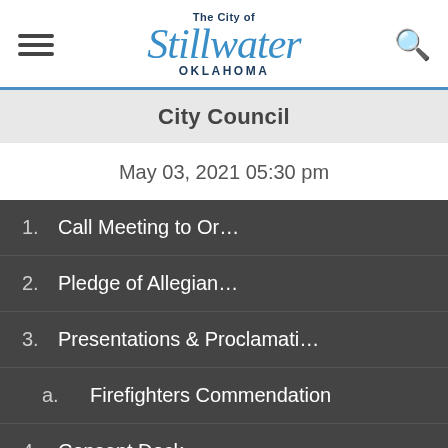The City of Stillwater OKLAHOMA
City Council
May 03, 2021 05:30 pm
1. Call Meeting to Or…
2. Pledge of Allegian…
3. Presentations & Proclamati…
a. Firefighters Commendation
4. Consent Dock…